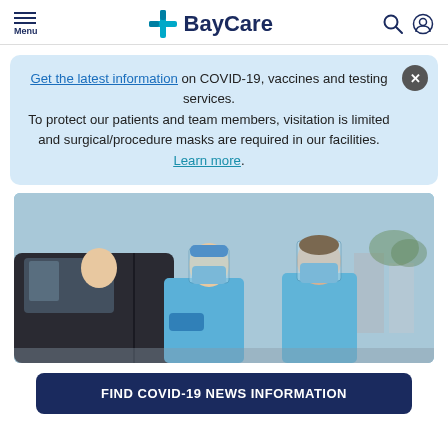Menu | BayCare
Get the latest information on COVID-19, vaccines and testing services. To protect our patients and team members, visitation is limited and surgical/procedure masks are required in our facilities. Learn more.
[Figure (photo): Healthcare workers in blue PPE (gowns, face shields, masks, gloves) conducting a drive-through COVID-19 test at a car window.]
FIND COVID-19 NEWS INFORMATION